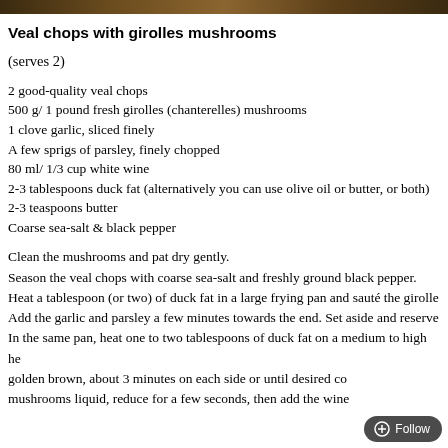[Figure (photo): A dark photo strip at the top of the page showing a food/recipe image]
Veal chops with girolles mushrooms
(serves 2)
2 good-quality veal chops
500 g/ 1 pound fresh girolles (chanterelles) mushrooms
1 clove garlic, sliced finely
A few sprigs of parsley, finely chopped
80 ml/ 1/3 cup white wine
2-3 tablespoons duck fat (alternatively you can use olive oil or butter, or both)
2-3 teaspoons butter
Coarse sea-salt & black pepper
Clean the mushrooms and pat dry gently.
Season the veal chops with coarse sea-salt and freshly ground black pepper.
Heat a tablespoon (or two) of duck fat in a large frying pan and sauté the girolle
Add the garlic and parsley a few minutes towards the end. Set aside and reserve
In the same pan, heat one to two tablespoons of duck fat on a medium to high he
golden brown, about 3 minutes on each side or until desired co
mushrooms liquid, reduce for a few seconds, then add the wine